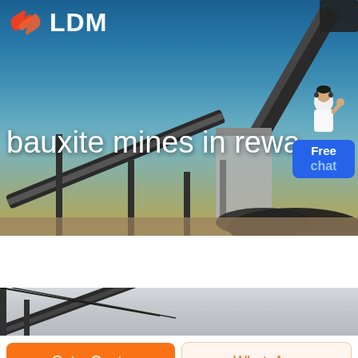[Figure (photo): Hero banner with mining/conveyor belt industrial equipment against a blue sky background. LDM logo with orange hands icon in top left.]
bauxite mines in rewa
[Figure (photo): Partial view of conveyor belt equipment on light gray background, lower section of page.]
Get a Quote
WhatsApp